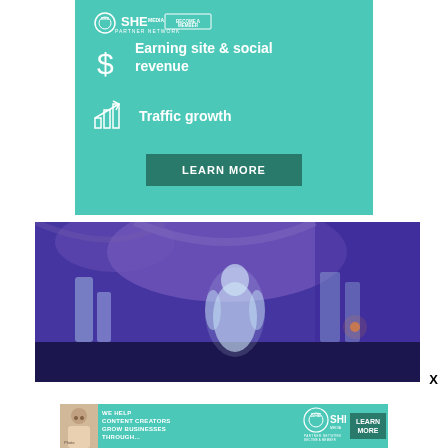[Figure (infographic): SHE Partner Network teal advertisement banner with dollar sign icon and 'Earning site & social revenue' text, bar chart icon and 'Traffic growth' text, and a dark teal 'LEARN MORE' button]
[Figure (photo): Photo of an ice sculpture display room illuminated with blue/purple lighting, showing a large humanoid ice sculpture in the center with arched ceilings and other ice sculptures in the background]
[Figure (infographic): Bottom banner advertisement: 'WE HELP CONTENT CREATORS GROW BUSINESSES THROUGH...' with SHE Partner Network logo, a photo of a woman, and a 'LEARN MORE' button on dark teal background]